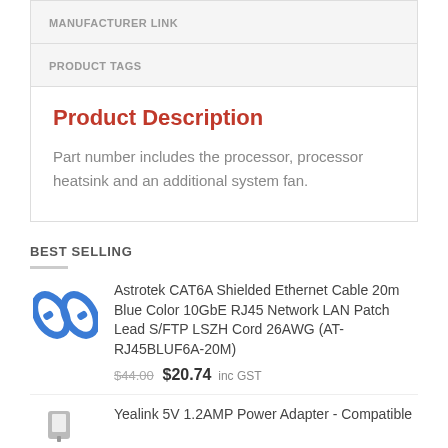| MANUFACTURER LINK |
| --- |
| PRODUCT TAGS |
| --- |
Product Description
Part number includes the processor, processor heatsink and an additional system fan.
BEST SELLING
Astrotek CAT6A Shielded Ethernet Cable 20m Blue Color 10GbE RJ45 Network LAN Patch Lead S/FTP LSZH Cord 26AWG (AT-RJ45BLUF6A-20M)
$44.00  $20.74 inc GST
Yealink 5V 1.2AMP Power Adapter - Compatible